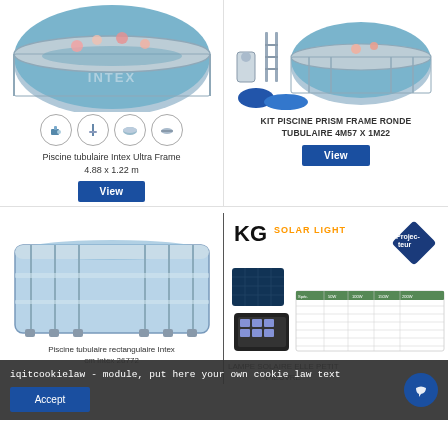[Figure (photo): Intex Ultra Frame round tubular pool with people swimming, shown with accessory icons below (pump, ladder, pool cover, cover)]
Piscine tubulaire Intex Ultra Frame 4.88 x 1.22 m
[Figure (photo): Prism Frame round tubular pool kit with accessories: ladder, filter pump, cover]
KIT PISCINE PRISM FRAME RONDE TUBULAIRE 4M57 X 1M22
[Figure (photo): Rectangular Intex Prism Frame pool, light blue, with metal frame]
Piscine tubulaire rectangulaire Intex cm Intex 26772
[Figure (photo): KG Solar Light product image with solar panel, flood light, and product spec table]
LAMPE SOLAIRE PIEUVRE PETIT PIEUVRE
iqitcookielaw - module, put here your own cookie law text